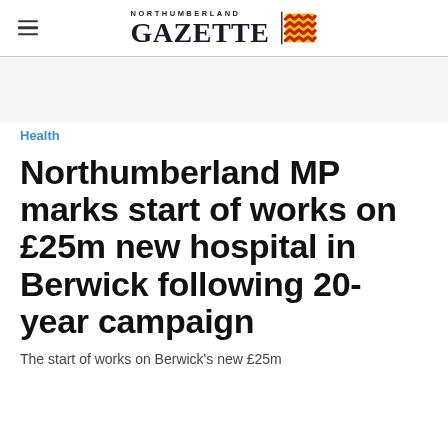NORTHUMBERLAND GAZETTE
Health
Northumberland MP marks start of works on £25m new hospital in Berwick following 20-year campaign
The start of works on Berwick's new £25m